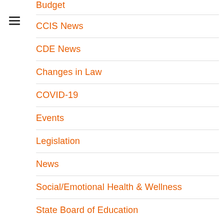CCIS News
CDE News
Changes in Law
COVID-19
Events
Legislation
News
Social/Emotional Health & Wellness
State Board of Education